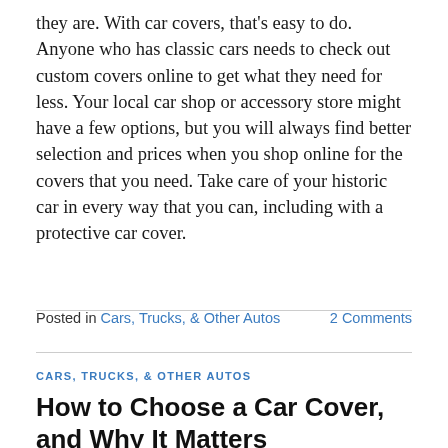they are. With car covers, that's easy to do. Anyone who has classic cars needs to check out custom covers online to get what they need for less. Your local car shop or accessory store might have a few options, but you will always find better selection and prices when you shop online for the covers that you need. Take care of your historic car in every way that you can, including with a protective car cover.
Posted in Cars, Trucks, & Other Autos   2 Comments
CARS, TRUCKS, & OTHER AUTOS
How to Choose a Car Cover, and Why It Matters
POSTED ON JANUARY 6, 2013 BY LARRY LEWIS